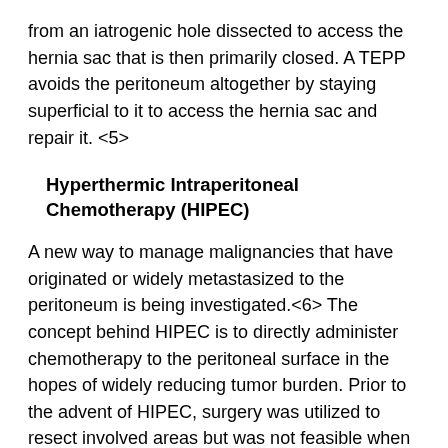from an iatrogenic hole dissected to access the hernia sac that is then primarily closed. A TEPP avoids the peritoneum altogether by staying superficial to it to access the hernia sac and repair it. <5>
Hyperthermic Intraperitoneal Chemotherapy (HIPEC)
A new way to manage malignancies that have originated or widely metastasized to the peritoneum is being investigated.<6> The concept behind HIPEC is to directly administer chemotherapy to the peritoneal surface in the hopes of widely reducing tumor burden. Prior to the advent of HIPEC, surgery was utilized to resect involved areas but was not feasible when widely disseminated, conferring a poor prognosis for the patient. While still requiring extensive research, there is hope that HIPEC will be